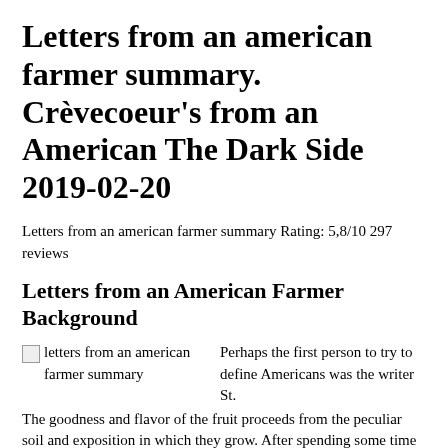Letters from an american farmer summary. Crèvecoeur's from an American The Dark Side 2019-02-20
Letters from an american farmer summary Rating: 5,8/10 297 reviews
Letters from an American Farmer Background
[Figure (other): Broken image placeholder labeled 'letters from an american farmer summary']
Perhaps the first person to try to define Americans was the writer St. The goodness and flavor of the fruit proceeds from the peculiar soil and exposition in which they grow. After spending some time recuperating at the family estate, he visited Paris and the salon of. He says that now they are melted into a new race of men called Americans. Leaving soon to live with the Indians.